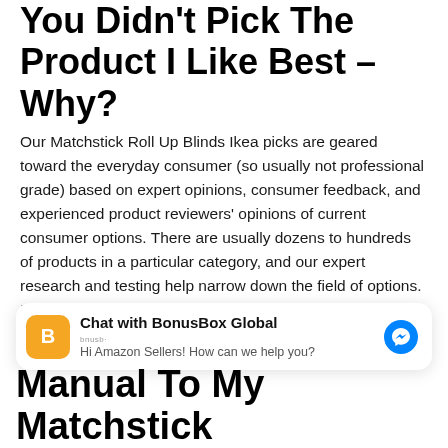You Didn't Pick The Product I Like Best – Why?
Our Matchstick Roll Up Blinds Ikea picks are geared toward the everyday consumer (so usually not professional grade) based on expert opinions, consumer feedback, and experienced product reviewers' opinions of current consumer options. There are usually dozens to hundreds of products in a particular category, and our expert research and testing help narrow down the field of options. If you don't agree with our picks, you can let us know using the contact link, and we will get back to you!
[Figure (screenshot): Chat widget showing BonusBox Global messenger chat prompt: 'Hi Amazon Sellers! How can we help you?']
Manual To My Matchstick